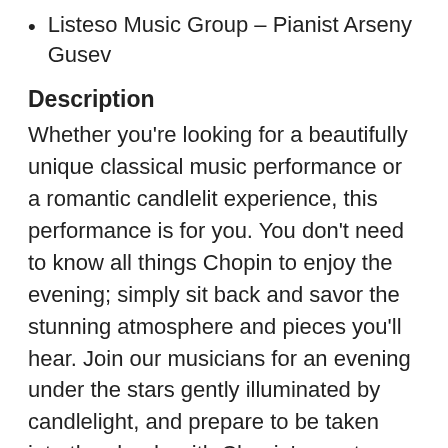Listeso Music Group – Pianist Arseny Gusev
Description
Whether you're looking for a beautifully unique classical music performance or a romantic candlelit experience, this performance is for you. You don't need to know all things Chopin to enjoy the evening; simply sit back and savor the stunning atmosphere and pieces you'll hear. Join our musicians for an evening under the stars gently illuminated by candlelight, and prepare to be taken into the clouds with Chopin's most treasured masterpieces!
User Reviews
💬 Torona P. ⭐⭐⭐⭐⭐: "Absolutely sublime. Beautiful. Intimate"